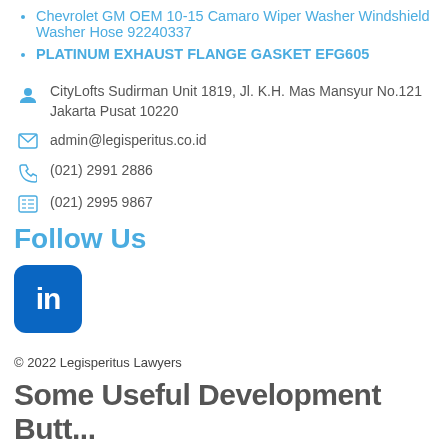Chevrolet GM OEM 10-15 Camaro Wiper Washer Windshield Washer Hose 92240337
PLATINUM EXHAUST FLANGE GASKET EFG605
CityLofts Sudirman Unit 1819, Jl. K.H. Mas Mansyur No.121 Jakarta Pusat 10220
admin@legisperitus.co.id
(021) 2991 2886
(021) 2995 9867
Follow Us
[Figure (logo): LinkedIn logo button — dark blue rounded square with 'in' text in white]
© 2022 Legisperitus Lawyers
Some Useful Development Butt...